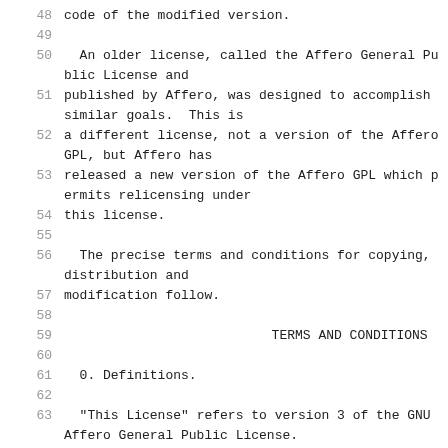48    code of the modified version.
49
50      An older license, called the Affero General Public License and
51    published by Affero, was designed to accomplish similar goals.  This is
52    a different license, not a version of the Affero GPL, but Affero has
53    released a new version of the Affero GPL which permits relicensing under
54    this license.
55
56      The precise terms and conditions for copying, distribution and
57    modification follow.
58
59                              TERMS AND CONDITIONS
60
61      0. Definitions.
62
63      "This License" refers to version 3 of the GNU Affero General Public License.